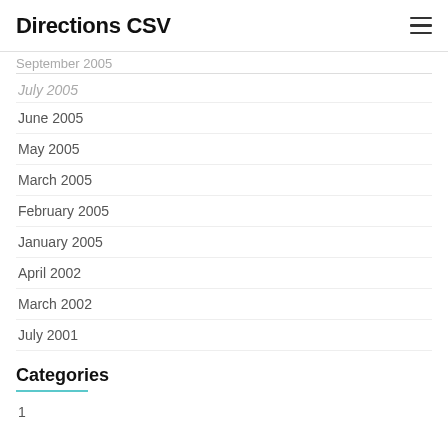Directions CSV
September 2005
July 2005
June 2005
May 2005
March 2005
February 2005
January 2005
April 2002
March 2002
July 2001
Categories
1